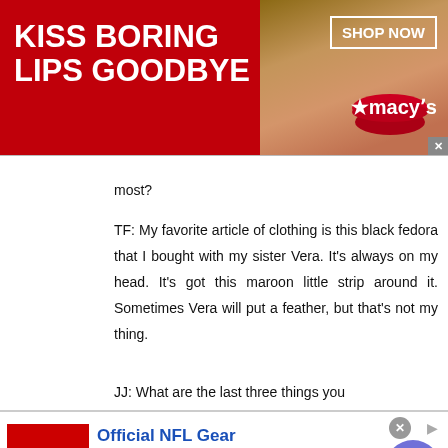[Figure (other): Top banner advertisement: red background with white bold text 'KISS BORING LIPS GOODBYE', woman's face with red lips in center, 'SHOP NOW' button in white border box, and Macy's star logo on right side]
most?
TF: My favorite article of clothing is this black fedora that I bought with my sister Vera. It’s always on my head. It’s got this maroon little strip around it. Sometimes Vera will put a feather, but that’s not my thing.
JJ: What are the last three things you
[Figure (other): Bottom banner advertisement for Official NFL Gear: red image on left with '0% OF' text visible, 'Official NFL Gear' heading in blue, 'Get Your Favorite Team’s Gear Here' subtext, 'www.nflshop.com' URL in green, circular close button with X, and blue circular arrow button on right]